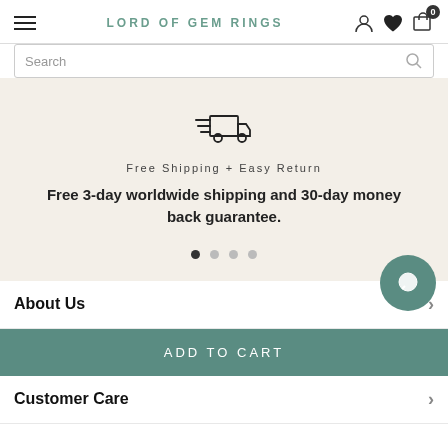LORD OF GEM RINGS
Search
[Figure (illustration): Fast shipping truck icon with motion lines]
Free Shipping + Easy Return
Free 3-day worldwide shipping and 30-day money back guarantee.
About Us
Add To Cart
Customer Care